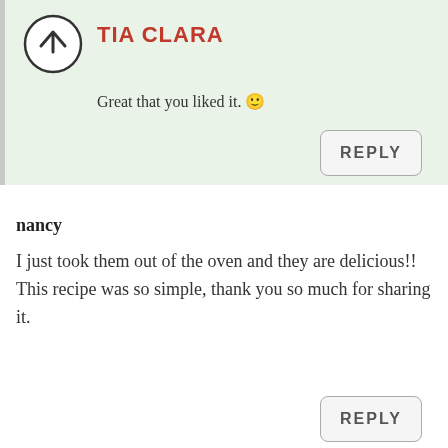TIA CLARA
Great that you liked it. 🙂
REPLY
nancy
I just took them out of the oven and they are delicious!! This recipe was so simple, thank you so much for sharing it.
REPLY